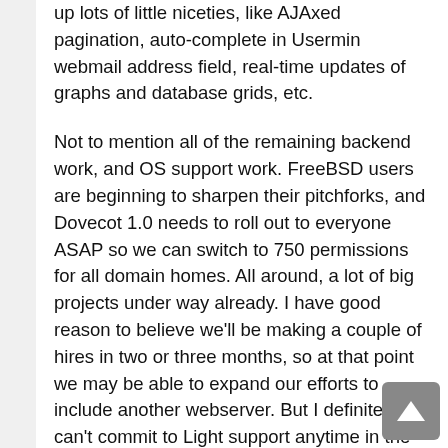up lots of little niceties, like AJAxed pagination, auto-complete in Usermin webmail address field, real-time updates of graphs and database grids, etc.
Not to mention all of the remaining backend work, and OS support work. FreeBSD users are beginning to sharpen their pitchforks, and Dovecot 1.0 needs to roll out to everyone ASAP so we can switch to 750 permissions for all domain homes. All around, a lot of big projects under way already. I have good reason to believe we'll be making a couple of hires in two or three months, so at that point we may be able to expand our efforts to include another webserver. But I definitely can't commit to Light support anytime in the next couple of months. (And we'll want to see a lot more users who actually